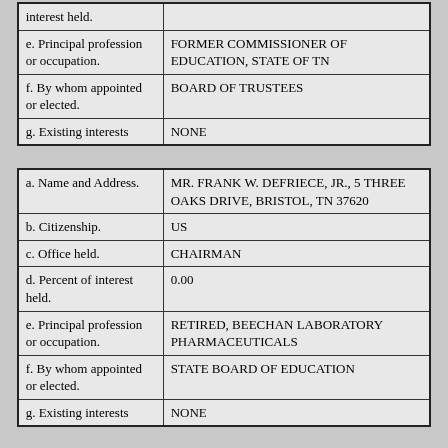| interest held. |  |
| e. Principal profession or occupation. | FORMER COMMISSIONER OF EDUCATION, STATE OF TN |
| f. By whom appointed or elected. | BOARD OF TRUSTEES |
| g. Existing interests | NONE |
| a. Name and Address. | MR. FRANK W. DEFRIECE, JR., 5 THREE OAKS DRIVE, BRISTOL, TN 37620 |
| b. Citizenship. | US |
| c. Office held. | CHAIRMAN |
| d. Percent of interest held. | 0.00 |
| e. Principal profession or occupation. | RETIRED, BEECHAN LABORATORY PHARMACEUTICALS |
| f. By whom appointed or elected. | STATE BOARD OF EDUCATION |
| g. Existing interests | NONE |